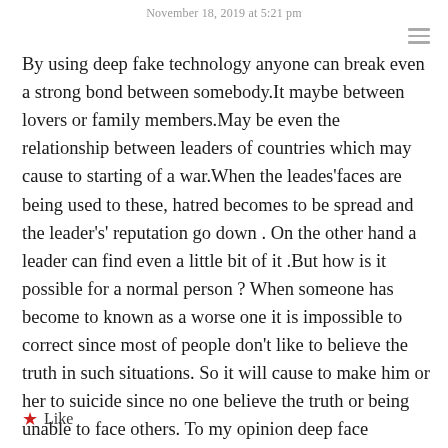November 18, 2019 at 5:21 pm
By using deep fake technology anyone can break even a strong bond between somebody.It maybe between lovers or family members.May be even the relationship between leaders of countries which may cause to starting of a war.When the leades'faces are being used to these, hatred becomes to be spread and the leader's' reputation go down . On the other hand a leader can find even a little bit of it .But how is it possible for a normal person ? When someone has become to known as a worse one it is impossible to correct since most of people don't like to believe the truth in such situations. So it will cause to make him or her to suicide since no one believe the truth or being unable to face others. To my opinion deep face technology is not good for us.Because it make the society worse both mentally and physically.
★ Like